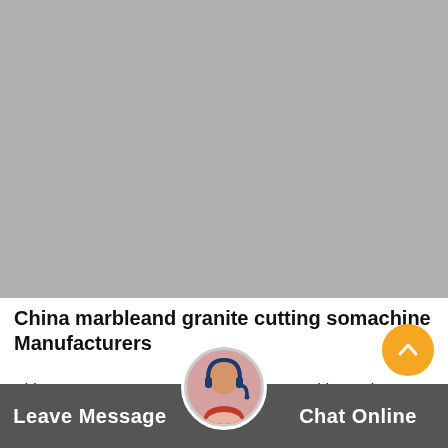[Figure (photo): Gray placeholder image for a CNC router/stone cutting machine product photo]
China marbleand granite cutting somachine Manufacturers
ChinaFactory 1325 CNC Router for StoneMarbleGranite EngravingMachinefor 3D Co... PanelMarbleEngravingmachine stone cnc router for sale is
[Figure (photo): Customer service avatar with headset]
Leave Message
Chat Online